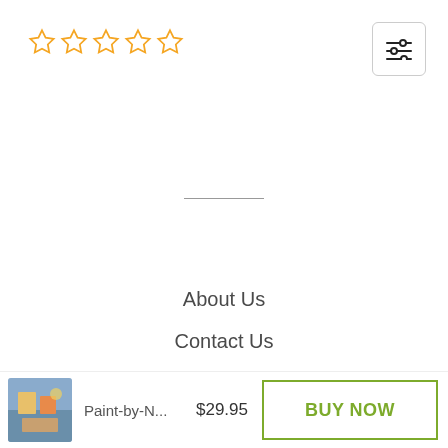[Figure (other): Five empty star rating icons in gold/yellow outline]
[Figure (other): Filter/settings icon button with two horizontal sliders, shown in a bordered box]
About Us
Contact Us
Track Your Order
Shipping Policy
[Figure (other): Paint-by-numbers product thumbnail image]
Paint-by-N...
$29.95
BUY NOW